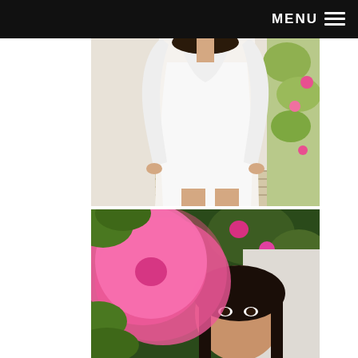MENU
[Figure (photo): A woman wearing a white long-sleeve draped top/tunic, standing outdoors with hands on hips, photographed from neck to knees, with green foliage and flowers visible in the background.]
[Figure (photo): A woman with dark hair peeking behind a large blurred pink flower (bougainvillea), surrounded by green leaves and pink flowers in the background.]